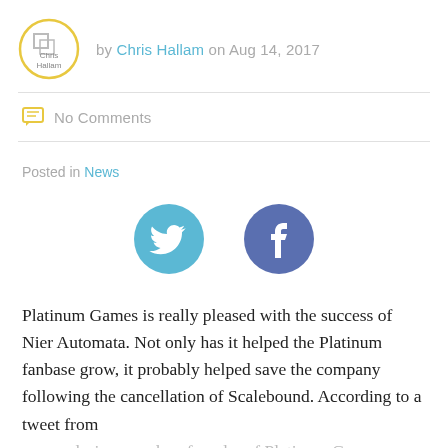by Chris Hallam on Aug 14, 2017
No Comments
Posted in News
[Figure (illustration): Twitter and Facebook social share icons — blue circle with Twitter bird, dark blue circle with Facebook f]
Platinum Games is really pleased with the success of Nier Automata. Not only has it helped the Platinum fanbase grow, it probably helped save the company following the cancellation of Scalebound. According to a tweet from
games designer and co-founder of Platinum Games Hideki Kamiya, Nier Automata and its writer and